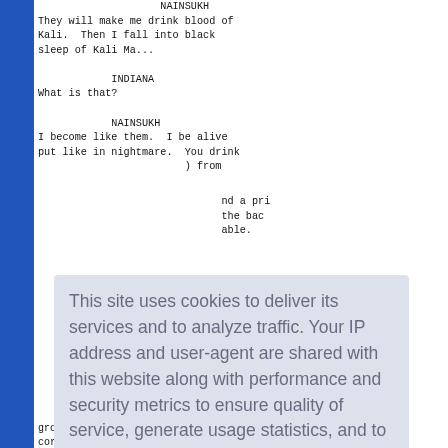They will make me drink blood of
Kali.  Then I fall into black
sleep of Kali Ma...
INDIANA
What is that?
NAINSUKH
I become like them.  I be alive
put like in nightmare.  You drink
                        ) from
nd a pri
the bac
able.
tunnel
chamber.
tic stat
grotesque statues of Kali's demoni minions line t
corner, there is another statue of Kali herself.
[Figure (screenshot): Cookie consent overlay dialog with text: 'This site uses cookies to deliver its services and to analyze traffic. Your IP address and user-agent are shared with this website along with performance and security metrics to ensure quality of service, generate usage statistics, and to detect and address abuse.' with a 'Learn more' link and a blue 'Got it!' button.]